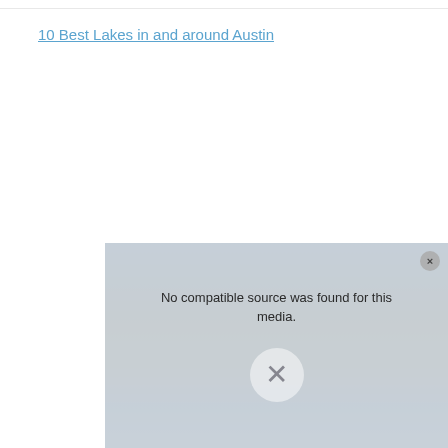10 Best Lakes in and around Austin
[Figure (other): Video player overlay showing 'No compatible source was found for this media.' message with an X close button and a large X icon, overlaid on a faded landscape/lake background image.]